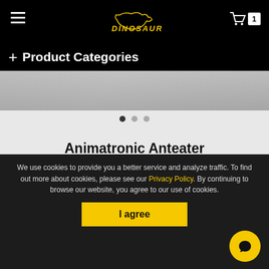DINOSAURS — navigation header with hamburger menu, logo, and cart (1 item)
+ Product Categories
[Figure (photo): Partial product image banner — grey textured surface visible at top of product page]
Animatronic Anteater
Features: Realistic Appearance & Lifelike Movements
We use cookies to provide you a better service and analyze traffic. To find out more about cookies, please see our Privacy Policy. By continuing to browse our website, you agree to our use of cookies.
I agree